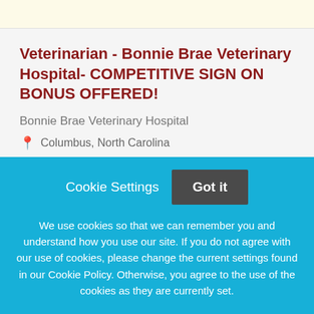Veterinarian - Bonnie Brae Veterinary Hospital- COMPETITIVE SIGN ON BONUS OFFERED!
Bonnie Brae Veterinary Hospital
Columbus, North Carolina
1 Week Ago
Veterinarian - Crestview Veterinary Clinic
Cookie Settings
Got it
We use cookies so that we can remember you and understand how you use our site. If you do not agree with our use of cookies, please change the current settings found in our Cookie Policy. Otherwise, you agree to the use of the cookies as they are currently set.